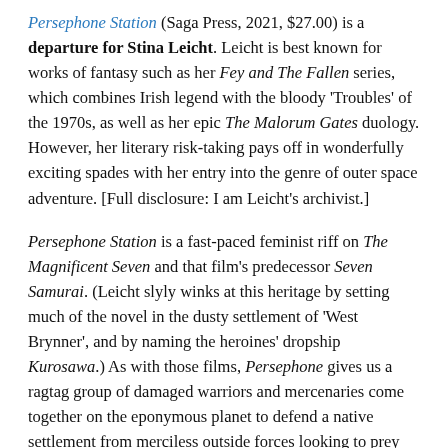Persephone Station (Saga Press, 2021, $27.00) is a departure for Stina Leicht. Leicht is best known for works of fantasy such as her Fey and The Fallen series, which combines Irish legend with the bloody 'Troubles' of the 1970s, as well as her epic The Malorum Gates duology. However, her literary risk-taking pays off in wonderfully exciting spades with her entry into the genre of outer space adventure. [Full disclosure: I am Leicht's archivist.]
Persephone Station is a fast-paced feminist riff on The Magnificent Seven and that film's predecessor Seven Samurai. (Leicht slyly winks at this heritage by setting much of the novel in the dusty settlement of 'West Brynner', and by naming the heroines' dropship Kurosawa.) As with those films, Persephone gives us a ragtag group of damaged warriors and mercenaries come together on the eponymous planet to defend a native settlement from merciless outside forces looking to prey on the weak and powerless. (In this case, in an sadly-all-too-timely detail